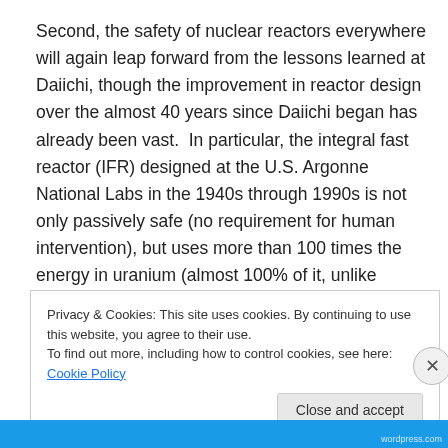Second, the safety of nuclear reactors everywhere will again leap forward from the lessons learned at Daiichi, though the improvement in reactor design over the almost 40 years since Daiichi began has already been vast.  In particular, the integral fast reactor (IFR) designed at the U.S. Argonne National Labs in the 1940s through 1990s is not only passively safe (no requirement for human intervention), but uses more than 100 times the energy in uranium (almost 100% of it, unlike current U.S. reactors that use less than 1%), and is designed to recycle the fuel
Privacy & Cookies: This site uses cookies. By continuing to use this website, you agree to their use.
To find out more, including how to control cookies, see here: Cookie Policy